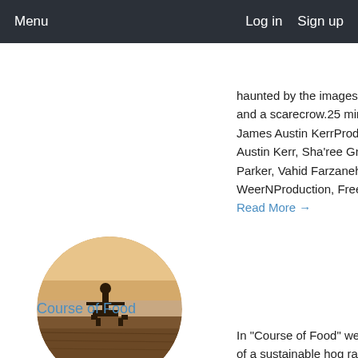Menu    Log in  Sign up
haunted by the images of a white rabbit and a scarecrow.25 min, OKDirector: James Austin KerrProducers: James Austin Kerr, Sha'ree Green, Wendy A Parker, Vahid Farzaneh, WeerNProduction, Freestyle Marketing... Read More →
[Figure (photo): Circular cropped photo of a person standing in a dry field at dusk, appearing to be a documentary film thumbnail]
Course of Food
In "Course of Food" we uncover the story of a sustainable hog rancher in